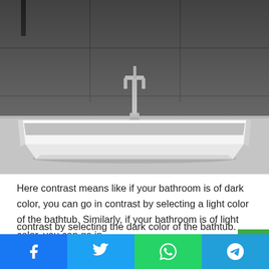[Figure (photo): A modern white freestanding rectangular bathtub with chrome floor-mounted faucet, set against dark grey tile wall, on a light grey floor.]
Here contrast means like if your bathroom is of dark color, you can go in contrast by selecting a light color of the bathtub. Similarly, if your bathroom is of light color, you can go in contrast by selecting the dark color of the bathtub.